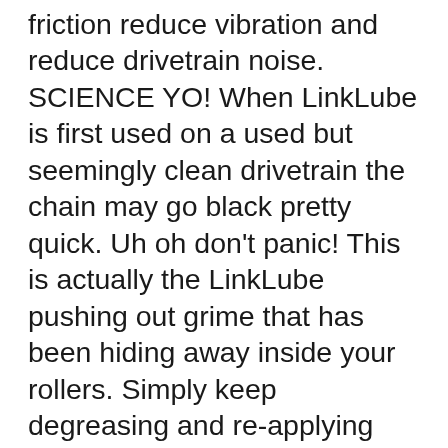friction reduce vibration and reduce drivetrain noise. SCIENCE YO! When LinkLube is first used on a used but seemingly clean drivetrain the chain may go black pretty quick. Uh oh don't panic! This is actually the LinkLube pushing out grime that has been hiding away inside your rollers. Simply keep degreasing and re-applying and over a few rides your chain will eventually run truly clean once again! APPLICATION Fully degrease drivetrain before applying fresh lube to ensure there is no old chain oil present. For best results use our foaming drivetrain degreaser or xxx solvent degreaser to remove stubborn factory greases in the case of brand new chains. Ensure you thoroughly rinse your chain with clean water after degreasing degreaser is